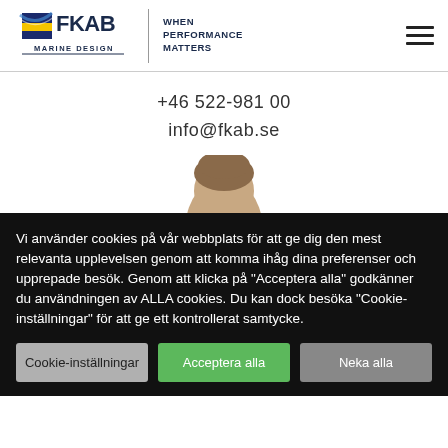[Figure (logo): FKAB Marine Design logo with Swedish flag colors and tagline WHEN PERFORMANCE MATTERS]
+46 522-981 00
info@fkab.se
[Figure (photo): Partial view of a person's head (top of head visible)]
Vi använder cookies på vår webbplats för att ge dig den mest relevanta upplevelsen genom att komma ihåg dina preferenser och upprepade besök. Genom att klicka på "Acceptera alla" godkänner du användningen av ALLA cookies. Du kan dock besöka "Cookie-inställningar" för att ge ett kontrollerat samtycke.
Cookie-inställningar | Acceptera alla | Neka alla